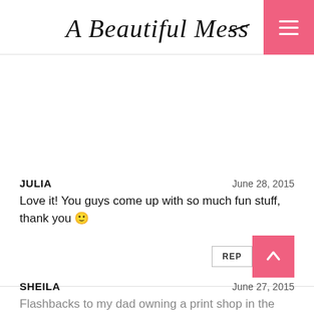A Beautiful Mess
JULIA   June 28, 2015
Love it! You guys come up with so much fun stuff, thank you 🙂
SHEILA   June 27, 2015
Flashbacks to my dad owning a print shop in the 80s (and making these with the leftovers